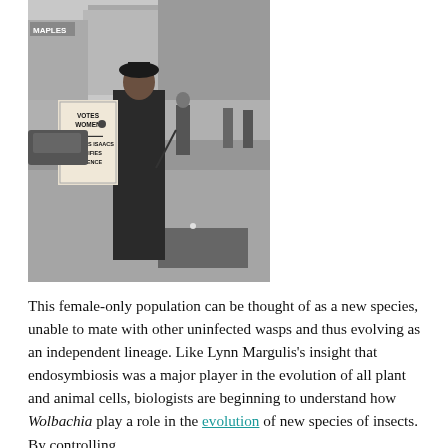[Figure (photo): Black and white historical photograph of a woman standing on a city street holding a sandwich board sign that reads 'VOTES WOMEN / SIR RUFUS ISAACS JUSTIFIES VIOLENCE'. She is wearing a long dark dress and hat. City buildings and vehicles visible in background.]
This female-only population can be thought of as a new species, unable to mate with other uninfected wasps and thus evolving as an independent lineage. Like Lynn Margulis's insight that endosymbiosis was a major player in the evolution of all plant and animal cells, biologists are beginning to understand how Wolbachia play a role in the evolution of new species of insects. By controlling